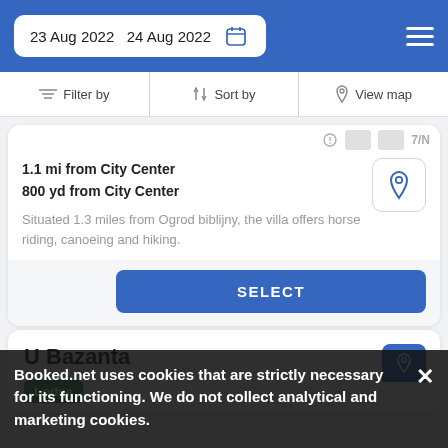23 Aug 2022  24 Aug 2022
Filter by  Sort by  View map
1.1 mi from City Center
800 yd from City Center
Situated 1.3 miles from Ogrod biblijny, the villa offers horse riding, canoeing and hiking.
SELECT
U Bazanta
Lodge
Booked.net uses cookies that are strictly necessary for its functioning. We do not collect analytical and marketing cookies.